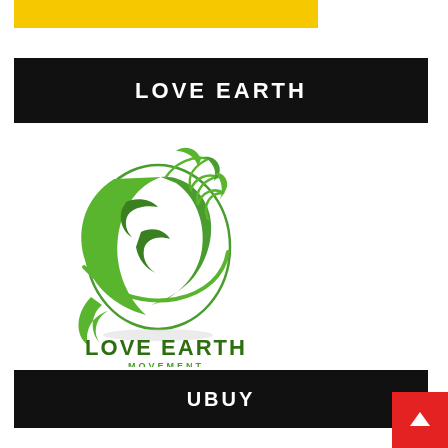[Figure (other): Yellow decorative bar at top]
LOVE EARTH
[Figure (logo): Love Earth Movement logo: green globe with leaves and plant, text 'LOVE EARTH MOVEMENT' below in dark green]
UBUY